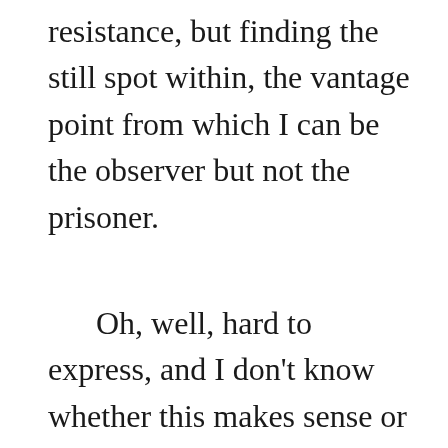resistance, but finding the still spot within, the vantage point from which I can be the observer but not the prisoner.
Oh, well, hard to express, and I don't know whether this makes sense or not. Perhaps it